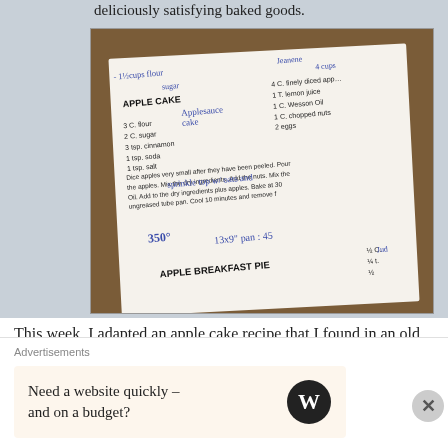deliciously satisfying baked goods.
[Figure (photo): Photo of an open cookbook page with the recipe 'Apple Cake' printed, showing ingredients: 3 C. flour, 2 C. sugar, 3 tsp. cinnamon, 1 tsp. soda, 1 tsp. salt, and instructions. Handwritten annotations in blue ink include: '1½ cups flour', 'sugar', 'Applesauce cake', 'Jeanene', '4 cups', 'sprinkle top w/ oats and', '350° 13x9" pan : 45'. Also shows 'APPLE BREAKFAST PIE' section beginning at bottom. Right side shows: '4 C. finely diced apples', '1 T. lemon juice', '1 C. Wesson Oil', '1 C. chopped nuts', '2 eggs'. Bottom right: 'Jud', '½ C.', '¼ t.', '½']
This week, I adapted an apple cake recipe that I found in an old community cookbook to create this moist, dense
Advertisements
Need a website quickly – and on a budget?